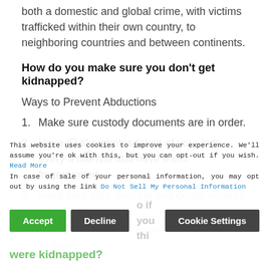both a domestic and global crime, with victims trafficked within their own country, to neighboring countries and between continents.
How do you make sure you don't get kidnapped?
Ways to Prevent Abductions
1. Make sure custody documents are in order.
2. Have ID-like photos taken of your kids every 6 months and have them fingerprinted.
3. Keep your kids' medical and dental records up to date.
4. Make sure you know where your kids are at all times.
5. Set boundaries about the places your kids go.
What should you do if you think you were kidnapped?
This website uses cookies to improve your experience. We'll assume you're ok with this, but you can opt-out if you wish. Read More
In case of sale of your personal information, you may opt out by using the link Do Not Sell My Personal Information